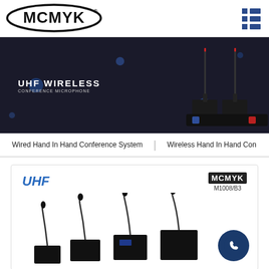[Figure (logo): MCMYK brand logo in black oval frame with bold letters]
[Figure (illustration): UHF Wireless Conference Microphone product banner with dark background and microphone stand images on right]
Wired Hand In Hand Conference System
Wireless Hand In Hand Con
[Figure (photo): Product card showing UHF wireless conference microphone units (M1008/B3) with MCMYK branding, showing 4 gooseneck microphone units with bases, and WhatsApp contact button]
UHF
M1008/B3